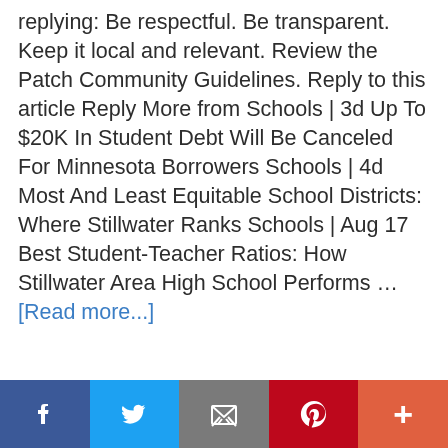replying: Be respectful. Be transparent. Keep it local and relevant. Review the Patch Community Guidelines. Reply to this article Reply More from Schools | 3d Up To $20K In Student Debt Will Be Canceled For Minnesota Borrowers Schools | 4d Most And Least Equitable School Districts: Where Stillwater Ranks Schools | Aug 17 Best Student-Teacher Ratios: How Stillwater Area High School Performs … [Read more...]
Filed Under: Uncategorized
Real Estate, super 1 sales this week, where is gain
[Figure (other): Social media sharing bar with Facebook, Twitter, Email, Pinterest, and More buttons]